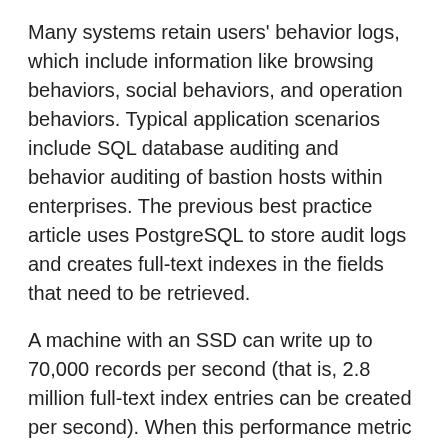Many systems retain users' behavior logs, which include information like browsing behaviors, social behaviors, and operation behaviors. Typical application scenarios include SQL database auditing and behavior auditing of bastion hosts within enterprises. The previous best practice article uses PostgreSQL to store audit logs and creates full-text indexes in the fields that need to be retrieved.
A machine with an SSD can write up to 70,000 records per second (that is, 2.8 million full-text index entries can be created per second). When this performance metric is met, the CPU usage and disk I/O are maxed out.
In addition to full-text indexing, what other methods can be used for this purpose?
This article describes how to implement audit log retrieval and high-speed writes from a different perspective.
Audit logs have three dimensional query criteria: UID, time